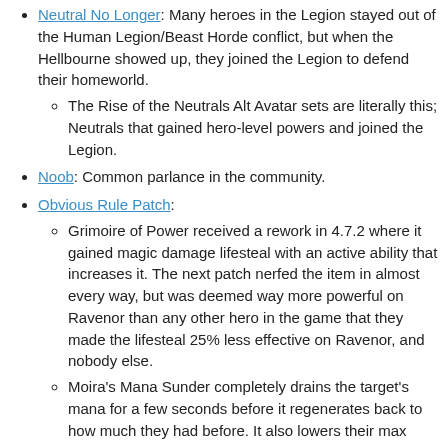Neutral No Longer: Many heroes in the Legion stayed out of the Human Legion/Beast Horde conflict, but when the Hellbourne showed up, they joined the Legion to defend their homeworld.
The Rise of the Neutrals Alt Avatar sets are literally this; Neutrals that gained hero-level powers and joined the Legion.
Noob: Common parlance in the community.
Obvious Rule Patch:
Grimoire of Power received a rework in 4.7.2 where it gained magic damage lifesteal with an active ability that increases it. The next patch nerfed the item in almost every way, but was deemed way more powerful on Ravenor than any other hero in the game that they made the lifesteal 25% less effective on Ravenor, and nobody else.
Moira's Mana Sunder completely drains the target's mana for a few seconds before it regenerates back to how much they had before. It also lowers their max...